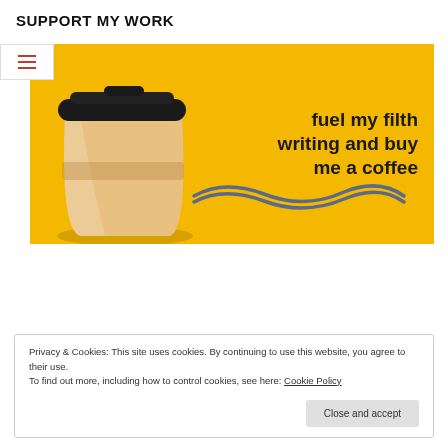SUPPORT MY WORK
[Figure (illustration): Yellow banner with a takeaway coffee cup on the left and bold text reading 'fuel my filth writing and buy me a coffee' on the right, with a hand-drawn squiggle underneath]
Privacy & Cookies: This site uses cookies. By continuing to use this website, you agree to their use.
To find out more, including how to control cookies, see here: Cookie Policy
Close and accept